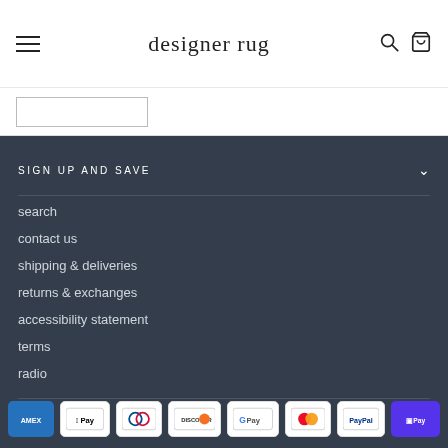designer rug
SIGN UP AND SAVE
search
contact us
shipping & deliveries
returns & exchanges
accessibility statement
terms
radio
[Figure (logo): Payment method icons: American Express, Apple Pay, Diners Club, Discover, Google Pay, Mastercard, PayPal, Shop Pay]